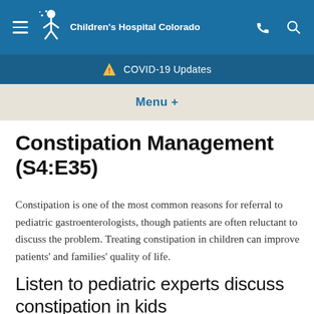Children's Hospital Colorado
COVID-19 Updates
Menu +
Constipation Management (S4:E35)
Constipation is one of the most common reasons for referral to pediatric gastroenterologists, though patients are often reluctant to discuss the problem. Treating constipation in children can improve patients' and families' quality of life.
Listen to pediatric experts discuss constipation in kids